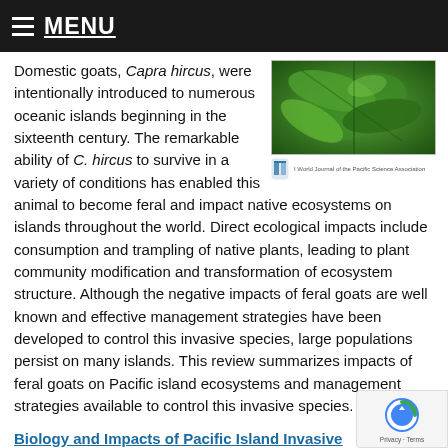MENU
[Figure (photo): Thumbnail photo of tropical plant leaves (appears to be a scientific journal cover with green foliage), with a small journal logo and text below reading the Pacific Science Association journal name.]
Domestic goats, Capra hircus, were intentionally introduced to numerous oceanic islands beginning in the sixteenth century. The remarkable ability of C. hircus to survive in a variety of conditions has enabled this animal to become feral and impact native ecosystems on islands throughout the world. Direct ecological impacts include consumption and trampling of native plants, leading to plant community modification and transformation of ecosystem structure. Although the negative impacts of feral goats are well known and effective management strategies have been developed to control this invasive species, large populations persist on many islands. This review summarizes impacts of feral goats on Pacific island ecosystems and management strategies available to control this invasive species.
Biology and Impacts of Pacific Island Invasive Species: Management Strategies for Control